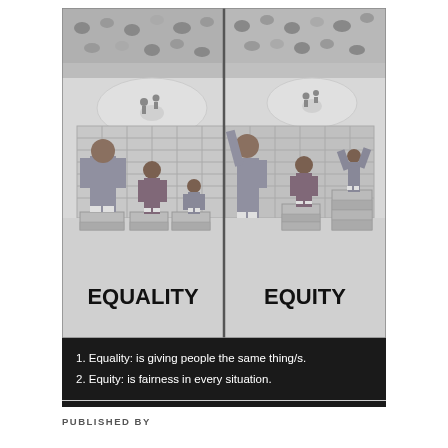[Figure (illustration): A two-panel illustration comparing EQUALITY and EQUITY. Left panel labeled 'EQUALITY': three figures (tall adult, medium child, small toddler) each standing on identical boxes of the same height to watch a baseball game over a fence; the toddler still cannot see. Right panel labeled 'EQUITY': same three figures standing on boxes of different heights sized to their needs, so all three can see over the fence. Background shows stadium crowd. The illustration is in grayscale.]
1. Equality: is giving people the same thing/s.
2. Equity: is fairness in every situation.
PUBLISHED BY